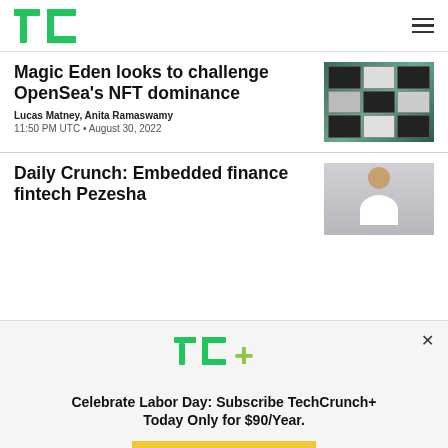TechCrunch
Magic Eden looks to challenge OpenSea's NFT dominance
Lucas Matney, Anita Ramaswamy
11:50 PM UTC • August 30, 2022
[Figure (photo): Photo of multiple display screens in a dark room showing NFT art]
Daily Crunch: Embedded finance fintech Pezesha
[Figure (photo): Headshot photo of a woman in a white top against a light grey background]
[Figure (logo): TC+ logo in green with plus sign in yellow-green]
Celebrate Labor Day: Subscribe TechCrunch+ Today Only for $90/Year.
GET OFFER NOW